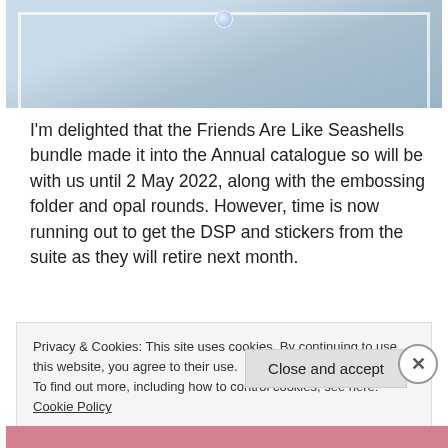[Figure (photo): Top portion of a light blue fuzzy fabric/textile item with a small opal or iridescent button/brooch at the center top, bordered by a white frame, set against a sandy background.]
I'm delighted that the Friends Are Like Seashells bundle made it into the Annual catalogue so will be with us until 2 May 2022, along with the embossing folder and opal rounds. However, time is now running out to get the DSP and stickers from the suite as they will retire next month.
Privacy & Cookies: This site uses cookies. By continuing to use this website, you agree to their use.
To find out more, including how to control cookies, see here: Cookie Policy
Close and accept